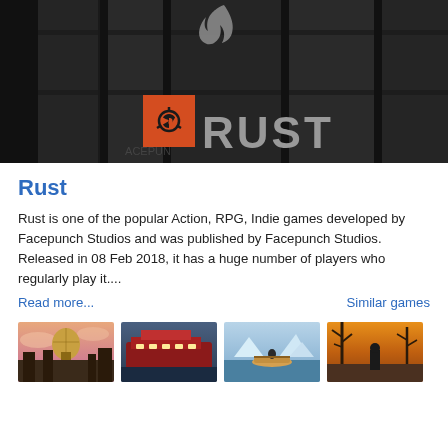[Figure (screenshot): Rust game header image with dark background showing barrels, a flame logo at top center, and the RUST logo with orange icon box in the center]
Rust
Rust is one of the popular Action, RPG, Indie games developed by Facepunch Studios and was published by Facepunch Studios. Released in 08 Feb 2018, it has a huge number of players who regularly play it....
Read more...   Similar games
[Figure (photo): Steampunk hot air balloon game screenshot]
[Figure (photo): Ship/cruise ocean game screenshot]
[Figure (photo): Arctic boat/kayak game screenshot]
[Figure (photo): Post-apocalyptic wilderness game screenshot]